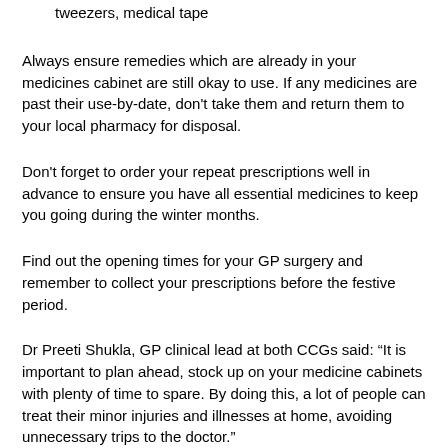First aid kit: plasters, bandages, thermometer, antiseptic, tweezers, medical tape
Always ensure remedies which are already in your medicines cabinet are still okay to use. If any medicines are past their use-by-date, don't take them and return them to your local pharmacy for disposal.
Don't forget to order your repeat prescriptions well in advance to ensure you have all essential medicines to keep you going during the winter months.
Find out the opening times for your GP surgery and remember to collect your prescriptions before the festive period.
Dr Preeti Shukla, GP clinical lead at both CCGs said: “It is important to plan ahead, stock up on your medicine cabinets with plenty of time to spare. By doing this, a lot of people can treat their minor injuries and illnesses at home, avoiding unnecessary trips to the doctor.”